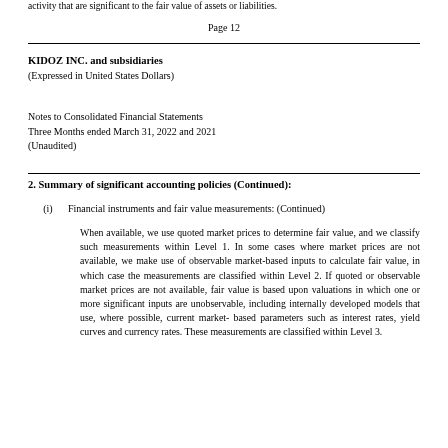activity that are significant to the fair value of assets or liabilities.
Page 12
KIDOZ INC. and subsidiaries
(Expressed in United States Dollars)
Notes to Consolidated Financial Statements
Three Months ended March 31, 2022 and 2021
(Unaudited)
2. Summary of significant accounting policies (Continued):
(i)   Financial instruments and fair value measurements: (Continued)
When available, we use quoted market prices to determine fair value, and we classify such measurements within Level 1. In some cases where market prices are not available, we make use of observable market-based inputs to calculate fair value, in which case the measurements are classified within Level 2. If quoted or observable market prices are not available, fair value is based upon valuations in which one or more significant inputs are unobservable, including internally developed models that use, where possible, current market-based parameters such as interest rates, yield curves and currency rates. These measurements are classified within Level 3.